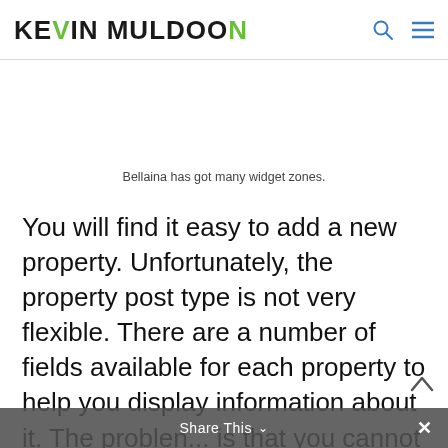Kevin Muldoon
Bellaina has got many widget zones.
You will find it easy to add a new property. Unfortunately, the property post type is not very flexible. There are a number of fields available for each property to help you display information about it. The problem is that you cannot add your custom fields or
Share This